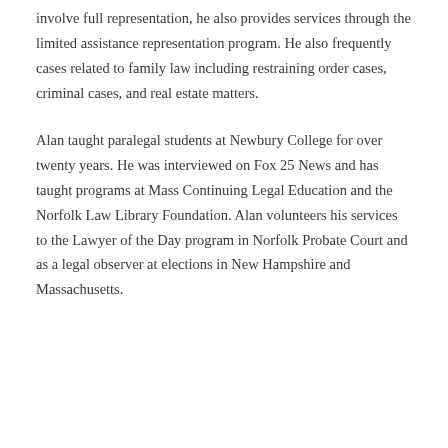involve full representation, he also provides services through the limited assistance representation program. He also frequently cases related to family law including restraining order cases, criminal cases, and real estate matters.
Alan taught paralegal students at Newbury College for over twenty years. He was interviewed on Fox 25 News and has taught programs at Mass Continuing Legal Education and the Norfolk Law Library Foundation. Alan volunteers his services to the Lawyer of the Day program in Norfolk Probate Court and as a legal observer at elections in New Hampshire and Massachusetts.